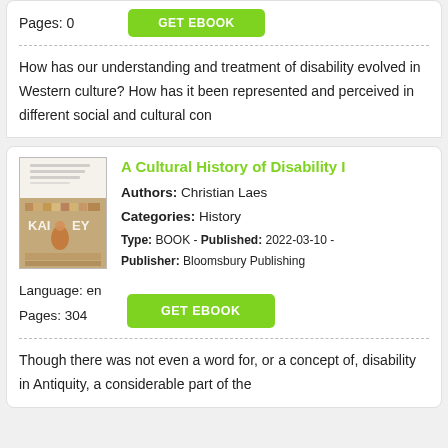Pages: 0
How has our understanding and treatment of disability evolved in Western culture? How has it been represented and perceived in different social and cultural con
A Cultural History of Disability I
Authors: Christian Laes
Categories: History
Type: BOOK - Published: 2022-03-10 - Publisher: Bloomsbury Publishing
Language: en
Pages: 304
Though there was not even a word for, or a concept of, disability in Antiquity, a considerable part of the